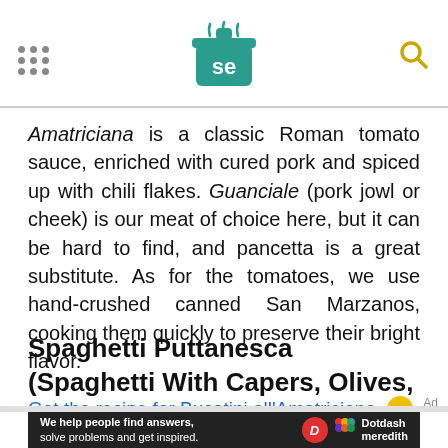[Serious Eats logo with SE icon, hamburger dots, and search icon]
Amatriciana is a classic Roman tomato sauce, enriched with cured pork and spiced up with chili flakes. Guanciale (pork jowl or cheek) is our meat of choice here, but it can be hard to find, and pancetta is a great substitute. As for the tomatoes, we use hand-crushed canned San Marzanos, cooking them quickly to preserve their bright flavor.
Get the recipe for Bucatini all'Amatriciana →
Spaghetti Puttanesca (Spaghetti With Capers, Olives, and Anchovies)
[Figure (screenshot): Dotdash Meredith advertisement banner: 'We help people find answers, solve problems and get inspired.']